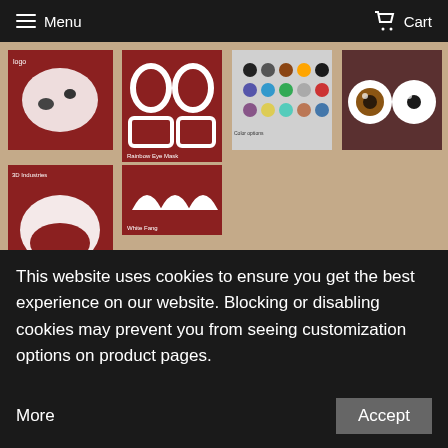Menu   Cart
[Figure (photo): Product image 1 - white base pieces on dark red background]
[Figure (photo): Product image 2 - white eye socket shaped pieces on dark red background]
[Figure (photo): Product image 3 - color swatches/eye options chart]
[Figure (photo): Product image 4 - two completed eyes (brown and white) on dark background]
[Figure (photo): Product image 5 - white curved base piece on dark red background]
[Figure (photo): Product image 6 - white ear/teeth shaped pieces on dark red background]
Feminine Rainbow Boa Head Base
130.00
This website uses cookies to ensure you get the best experience on our website. Blocking or disabling cookies may prevent you from seeing customization options on product pages.   More   Accept